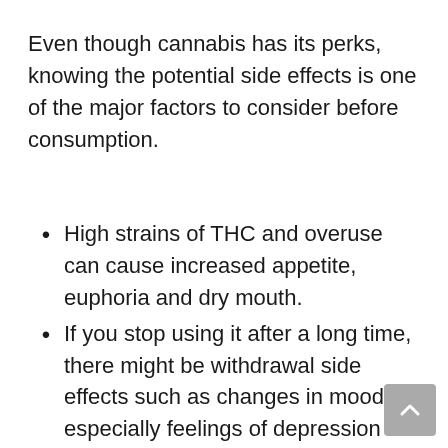Even though cannabis has its perks, knowing the potential side effects is one of the major factors to consider before consumption.
High strains of THC and overuse can cause increased appetite, euphoria and dry mouth.
If you stop using it after a long time, there might be withdrawal side effects such as changes in mood, especially feelings of depression or anxiety and sleep